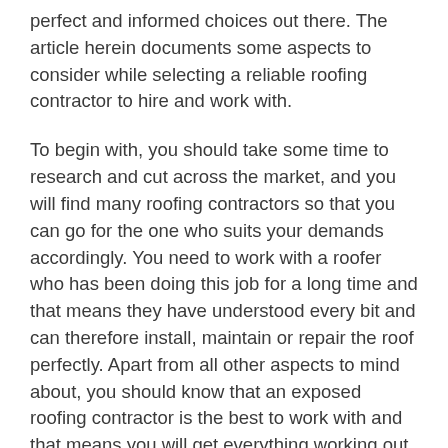perfect and informed choices out there. The article herein documents some aspects to consider while selecting a reliable roofing contractor to hire and work with.
To begin with, you should take some time to research and cut across the market, and you will find many roofing contractors so that you can go for the one who suits your demands accordingly. You need to work with a roofer who has been doing this job for a long time and that means they have understood every bit and can therefore install, maintain or repair the roof perfectly. Apart from all other aspects to mind about, you should know that an exposed roofing contractor is the best to work with and that means you will get everything working out perfectly for you.
For you to hire a certain roofing contractor, you should focus on the various documents brought forth, but more attention should be embedded on the license as it represents the legitimacy of the services provided. You should at al ways attention the license but also